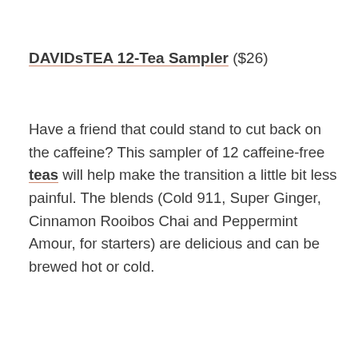DAVIDsTEA 12-Tea Sampler ($26)
Have a friend that could stand to cut back on the caffeine? This sampler of 12 caffeine-free teas will help make the transition a little bit less painful. The blends (Cold 911, Super Ginger, Cinnamon Rooibos Chai and Peppermint Amour, for starters) are delicious and can be brewed hot or cold.